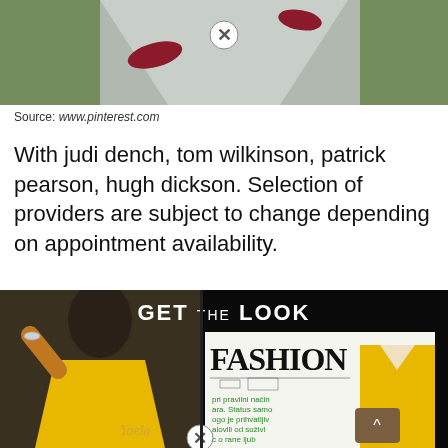[Figure (photo): Top portion of image showing red/maroon shoes on a grey path, with a close X button overlay]
Source: www.pinterest.com
With judi dench, tom wilkinson, patrick pearson, hugh dickson. Selection of providers are subject to change depending on appointment availability.
[Figure (photo): Collage image showing a woman in a yellow dress waving, overlaid with fashion magazine graphics reading GET THE LOOK and FASHION, with Slavic text and a close X button]